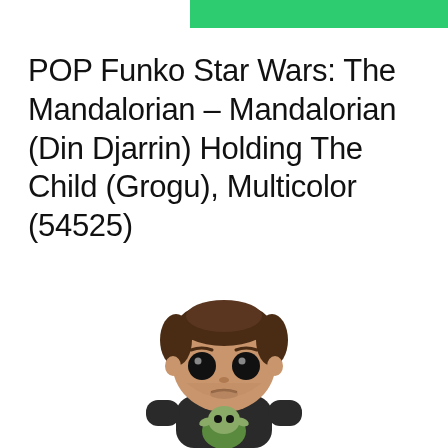POP Funko Star Wars: The Mandalorian – Mandalorian (Din Djarrin) Holding The Child (Grogu), Multicolor (54525)
[Figure (illustration): Funko Pop vinyl figure of Din Djarrin (The Mandalorian) with brown hair, large dark eyes, neutral expression, wearing dark outfit, holding The Child (Grogu) with green element visible at bottom]